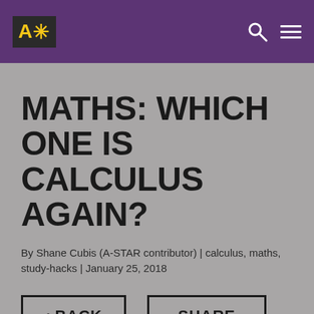A* (logo) | search | menu
MATHS: WHICH ONE IS CALCULUS AGAIN?
By Shane Cubis (A-STAR contributor) | calculus, maths, study-hacks | January 25, 2018
< BACK | SHARE